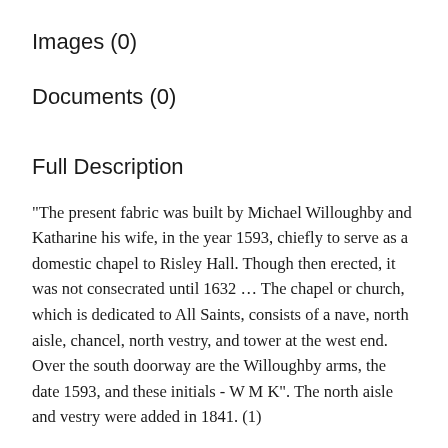Images (0)
Documents (0)
Full Description
"The present fabric was built by Michael Willoughby and Katharine his wife, in the year 1593, chiefly to serve as a domestic chapel to Risley Hall. Though then erected, it was not consecrated until 1632 ... The chapel or church, which is dedicated to All Saints, consists of a nave, north aisle, chancel, north vestry, and tower at the west end. Over the south doorway are the Willoughby arms, the date 1593, and these initials - W M K". The north aisle and vestry were added in 1841. (1)
In determining the origin of All Saints' Church, Risley, two dates have to be reconciled. Above the southern doorway is a coat-